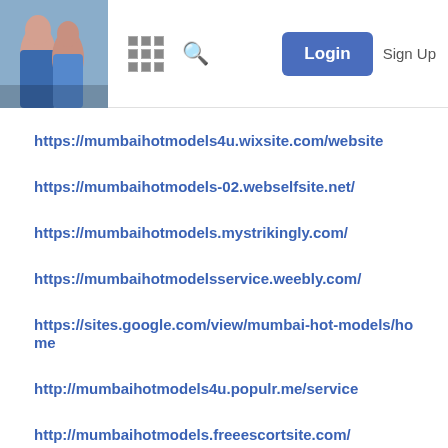[Figure (screenshot): Website header with a photo of two women, a grid icon, a search icon, a blue Login button, and a Sign Up text link]
https://mumbaihotmodels4u.wixsite.com/website
https://mumbaihotmodels-02.webselfsite.net/
https://mumbaihotmodels.mystrikingly.com/
https://mumbaihotmodelsservice.weebly.com/
https://sites.google.com/view/mumbai-hot-models/home
http://mumbaihotmodels4u.populr.me/service
http://mumbaihotmodels.freeescortsite.com/